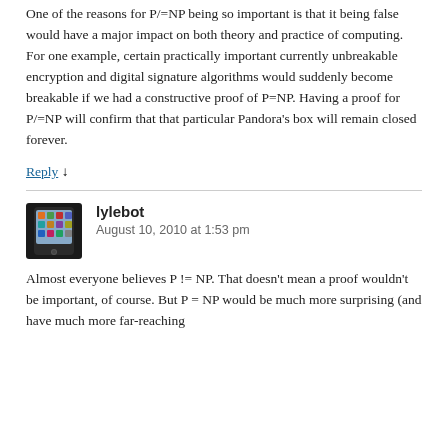One of the reasons for P/=NP being so important is that it being false would have a major impact on both theory and practice of computing. For one example, certain practically important currently unbreakable encryption and digital signature algorithms would suddenly become breakable if we had a constructive proof of P=NP. Having a proof for P/=NP will confirm that that particular Pandora’s box will remain closed forever.
Reply ↓
lylebot
August 10, 2010 at 1:53 pm
Almost everyone believes P != NP. That doesn’t mean a proof wouldn’t be important, of course. But P = NP would be much more surprising (and have much more far-reaching